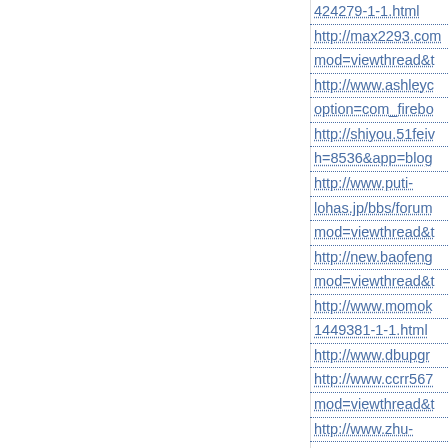424279-1-1.html
http://max2293.com mod=viewthread&t
http://www.ashleyc option=com_firebo
http://shiyou.51feiv h=8536&app=blog
http://www.puti-lohas.jp/bbs/forum mod=viewthread&t
http://new.baofeng mod=viewthread&t
http://www.momok 1449381-1-1.html
http://www.dbupgr
http://www.ccrr567 mod=viewthread&t
http://www.zhu-